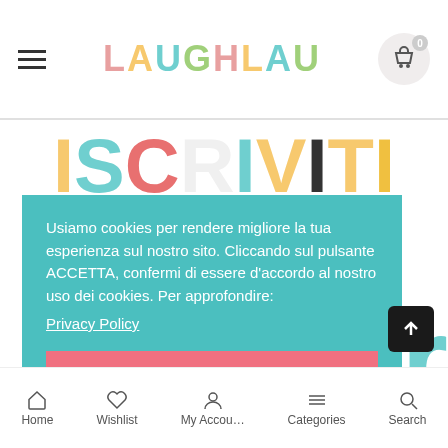LAUGHLAU
ISCRIVITI ALLA
ter
ti su novità, ensater
Usiamo cookies per rendere migliore la tua esperienza sul nostro sito. Cliccando sul pulsante ACCETTA, confermi di essere d'accordo al nostro uso dei cookies. Per approfondire: Privacy Policy
ACCETTA TUTTI I COOKIES
Personalizza
RIFIUTA
Home  Wishlist  My Accou…  Categories  Search